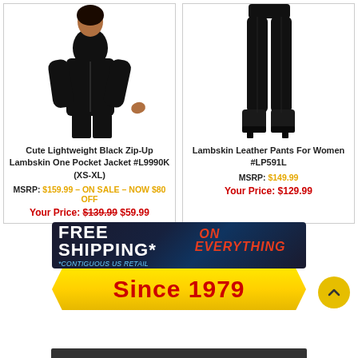[Figure (photo): Woman wearing a black zip-up lambskin leather jacket]
[Figure (photo): Black lambskin leather pants worn with boots, lower body shown]
Cute Lightweight Black Zip-Up Lambskin One Pocket Jacket #L9990K (XS-XL)
MSRP: $159.99 – ON SALE – NOW $80 OFF
Your Price: $139.99 $59.99
Lambskin Leather Pants For Women #LP591L
MSRP: $149.99
Your Price: $129.99
[Figure (infographic): FREE SHIPPING* ON EVERYTHING banner with *Contiguous US Retail text]
[Figure (infographic): Since 1979 yellow ribbon banner]